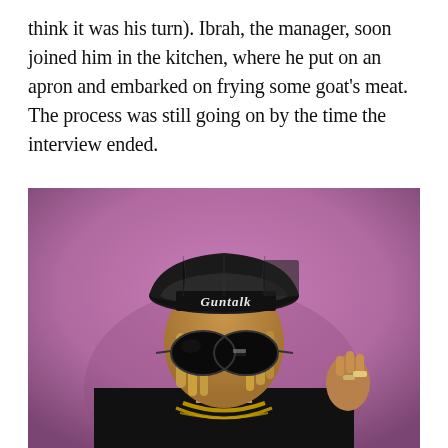think it was his turn). Ibrah, the manager, soon joined him in the kitchen, where he put on an apron and embarked on frying some goat's meat. The process was still going on by the time the interview ended.
[Figure (photo): A young man wearing a black trucker cap with a beanie underneath that reads 'Guntalk' in gothic lettering, dark oversized sunglasses, dreadlocks/braids, a black hoodie, and gold chain necklaces. He poses with his right hand raised slightly, wearing rings. The background is a gradient of purple/mauve tones.]